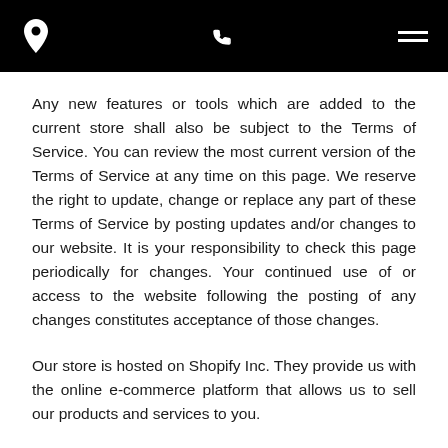[navigation bar with location icon, phone icon, and hamburger menu]
Any new features or tools which are added to the current store shall also be subject to the Terms of Service. You can review the most current version of the Terms of Service at any time on this page. We reserve the right to update, change or replace any part of these Terms of Service by posting updates and/or changes to our website. It is your responsibility to check this page periodically for changes. Your continued use of or access to the website following the posting of any changes constitutes acceptance of those changes.
Our store is hosted on Shopify Inc. They provide us with the online e-commerce platform that allows us to sell our products and services to you.
SECTION 9 - ONLINE STORE TERMS